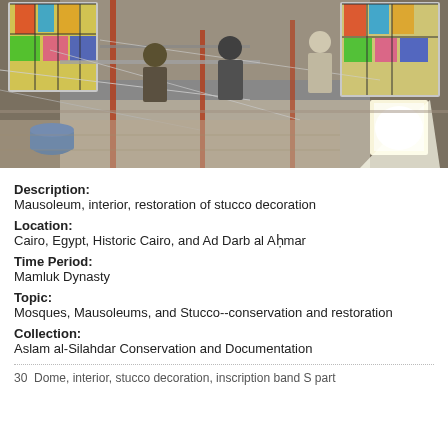[Figure (photo): Interior of a mausoleum under restoration, showing scaffolding, workers, colorful stained glass windows, a bright work light, and a blue bucket in the foreground.]
Description:
Mausoleum, interior, restoration of stucco decoration
Location:
Cairo, Egypt, Historic Cairo, and Ad Darb al Aḥmar
Time Period:
Mamluk Dynasty
Topic:
Mosques, Mausoleums, and Stucco--conservation and restoration
Collection:
Aslam al-Silahdar Conservation and Documentation
30  Dome, interior, stucco decoration, inscription band S part